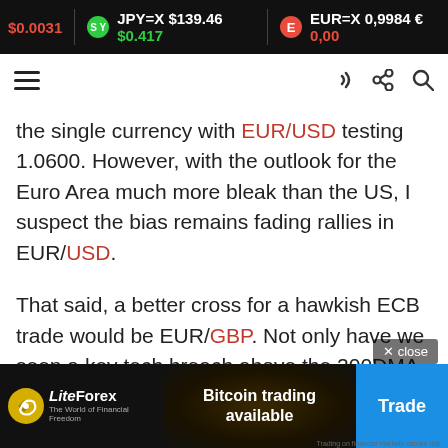$0.0031  JPY=X $139.46 $0.417  EUR=X 0,9984 € 0,00
the single currency with EUR/USD testing 1.0600. However, with the outlook for the Euro Area much more bleak than the US, I suspect the bias remains fading rallies in EUR/USD.
That said, a better cross for a hawkish ECB trade would be EUR/GBP. Not only have we seen a key tech breach above the 200DMA and April high, but the BoE have sent their strongest signal that current money market pricing is too aggressive and thus leaves further room for the Pound to underperform. Support
[Figure (screenshot): LiteForex advertisement banner at bottom: Bitcoin trading available, with Trade button]